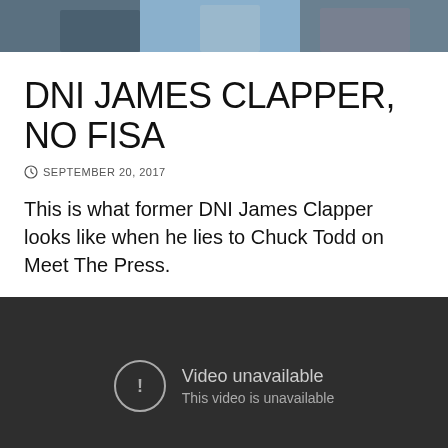[Figure (photo): Partial photo of people at the top of the page, showing torsos and background]
DNI JAMES CLAPPER, NO FISA
SEPTEMBER 20, 2017
This is what former DNI James Clapper looks like when he lies to Chuck Todd on Meet The Press.
[Figure (screenshot): Embedded video player showing 'Video unavailable - This video is unavailable' message on dark background]